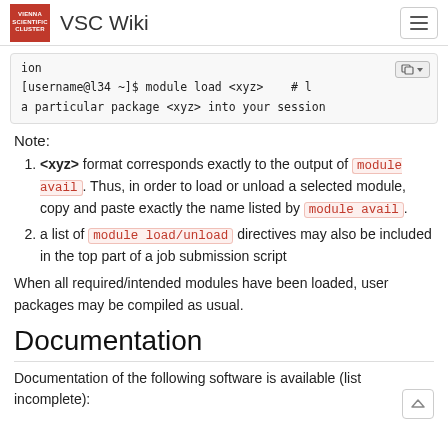VSC Wiki
ion
[username@l34 ~]$ module load <xyz>    # l
a particular package <xyz> into your session
Note:
<xyz> format corresponds exactly to the output of module avail. Thus, in order to load or unload a selected module, copy and paste exactly the name listed by module avail.
a list of module load/unload directives may also be included in the top part of a job submission script
When all required/intended modules have been loaded, user packages may be compiled as usual.
Documentation
Documentation of the following software is available (list incomplete):